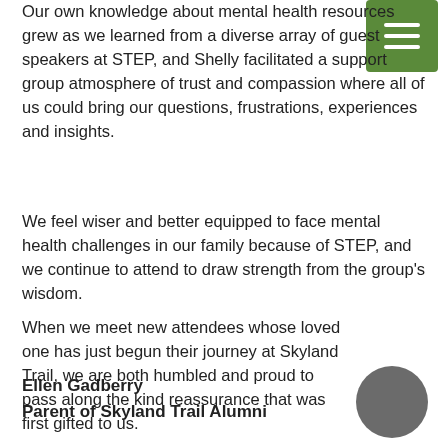Our own knowledge about mental health resources grew as we learned from a diverse array of guest speakers at STEP, and Shelly facilitated a support group atmosphere of trust and compassion where all of us could bring our questions, frustrations, experiences and insights.
We feel wiser and better equipped to face mental health challenges in our family because of STEP, and we continue to attend to draw strength from the group's wisdom.
When we meet new attendees whose loved one has just begun their journey at Skyland Trail, we are both humbled and proud to pass along the kind reassurance that was first gifted to us.
Ellen Gadberry
Parent of Skyland Trail Alumni